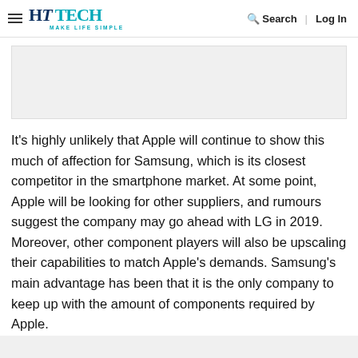HT TECH MAKE LIFE SIMPLE | Search | Log In
[Figure (other): Advertisement placeholder box, light grey background]
It's highly unlikely that Apple will continue to show this much of affection for Samsung, which is its closest competitor in the smartphone market. At some point, Apple will be looking for other suppliers, and rumours suggest the company may go ahead with LG in 2019. Moreover, other component players will also be upscaling their capabilities to match Apple's demands. Samsung's main advantage has been that it is the only company to keep up with the amount of components required by Apple.